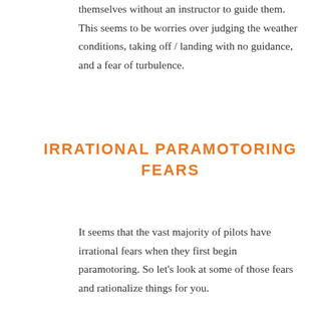themselves without an instructor to guide them. This seems to be worries over judging the weather conditions, taking off / landing with no guidance, and a fear of turbulence.
IRRATIONAL PARAMOTORING FEARS
It seems that the vast majority of pilots have irrational fears when they first begin paramotoring. So let's look at some of those fears and rationalize things for you.